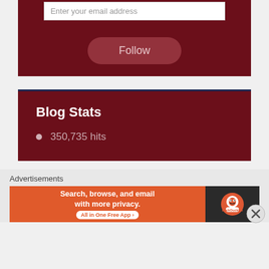Enter your email address
Follow
Blog Stats
350,735 hits
Advertisements
[Figure (screenshot): DuckDuckGo advertisement banner: orange left section with text 'Search, browse, and email with more privacy. All in One Free App', dark right section with DuckDuckGo duck logo]